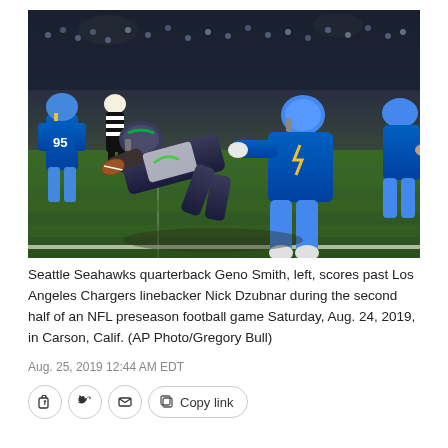[Figure (photo): NFL football action photo: Seattle Seahawks quarterback Geno Smith diving to score a touchdown past Los Angeles Chargers linebacker Nick Dzubnar during a night game. Players in blue Chargers uniforms and dark Seahawks uniforms on a green grass field.]
Seattle Seahawks quarterback Geno Smith, left, scores past Los Angeles Chargers linebacker Nick Dzubnar during the second half of an NFL preseason football game Saturday, Aug. 24, 2019, in Carson, Calif. (AP Photo/Gregory Bull)
Aug. 25, 2019 12:44 AM EDT